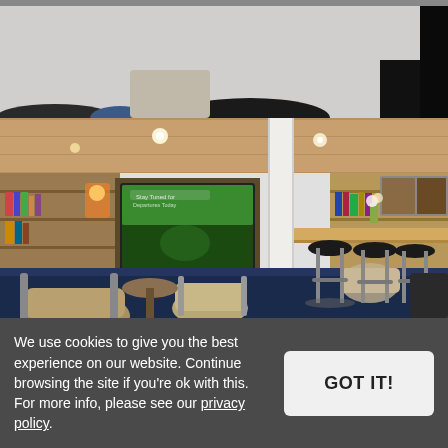[Figure (photo): Top strip showing partial view of a lounge area on a ferry or ship, with tables and chairs visible, dark background at top.]
[Figure (photo): Interior of a ship or ferry lounge with tan/beige chairs, bar stools at a high counter, bookshelves along the walls, a TV screen, white support pillars, and dark blue carpet.]
We use cookies to give you the best experience on our website. Continue browsing the site if you're ok with this. For more info, please see our privacy policy.